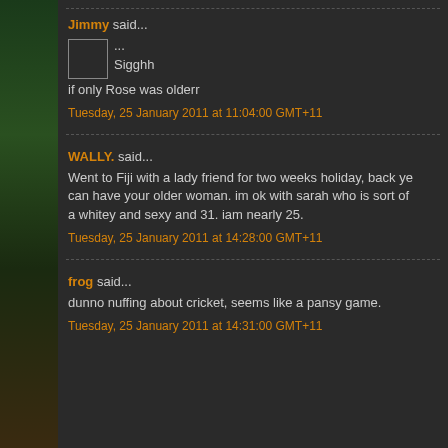Jimmy said...
...
Sigghh

if only Rose was olderr
Tuesday, 25 January 2011 at 11:04:00 GMT+11
WALLY. said...
Went to Fiji with a lady friend for two weeks holiday, back ye... can have your older woman. im ok with sarah who is sort of a whitey and sexy and 31. iam nearly 25.
Tuesday, 25 January 2011 at 14:28:00 GMT+11
frog said...
dunno nuffing about cricket, seems like a pansy game.
Tuesday, 25 January 2011 at 14:31:00 GMT+11